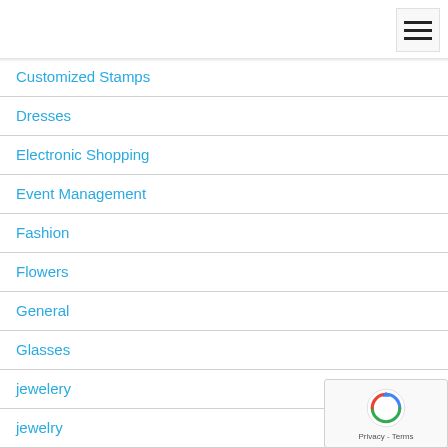[Figure (other): Hamburger menu icon (three horizontal lines)]
Customized Stamps
Dresses
Electronic Shopping
Event Management
Fashion
Flowers
General
Glasses
jewelery
jewelry
Online Shopping
[Figure (logo): reCAPTCHA badge with Privacy and Terms links]